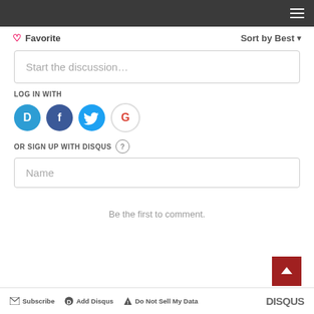♡ Favorite
Sort by Best ▾
Start the discussion…
LOG IN WITH
[Figure (illustration): Social login icons: Disqus (blue circle with D), Facebook (dark blue circle with f), Twitter (light blue circle with bird), Google (white circle with G)]
OR SIGN UP WITH DISQUS ?
Name
Be the first to comment.
✉ Subscribe  ● Add Disqus  ▲ Do Not Sell My Data  DISQUS